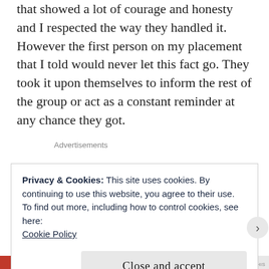that showed a lot of courage and honesty and I respected the way they handled it. However the first person on my placement that I told would never let this fact go. They took it upon themselves to inform the rest of the group or act as a constant reminder at any chance they got.
Advertisements
Keep in touch with your friends from whatever
Privacy & Cookies: This site uses cookies. By continuing to use this website, you agree to their use.
To find out more, including how to control cookies, see here:
Cookie Policy
Close and accept